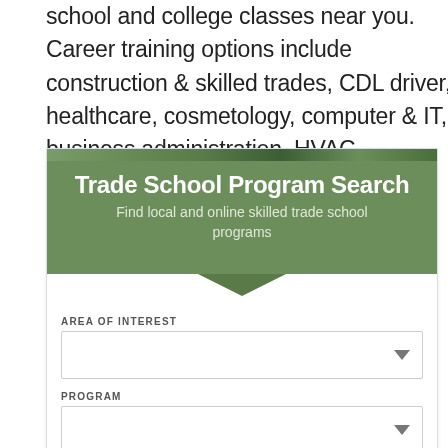school and college classes near you. Career training options include construction & skilled trades, CDL driver, healthcare, cosmetology, computer & IT, business administration, HVAC technology and many others.
[Figure (infographic): Trade School Program Search widget with a green header, subtitle 'Find local and online skilled trade school programs', and a search form with Area of Interest and Program dropdowns, plus Campus/Online/Both toggle buttons.]